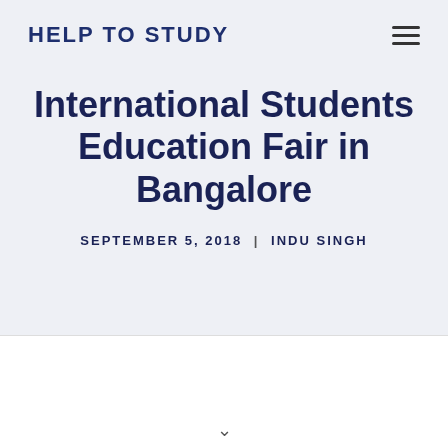HELP TO STUDY
International Students Education Fair in Bangalore
SEPTEMBER 5, 2018 | INDU SINGH